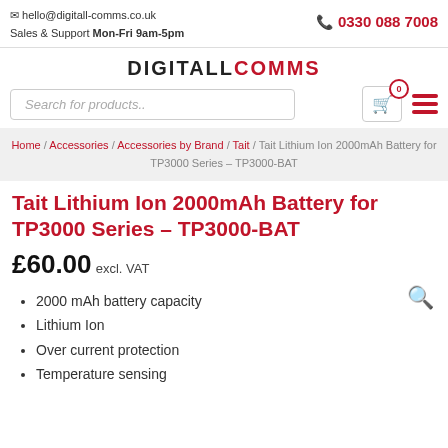hello@digitall-comms.co.uk | Sales & Support Mon-Fri 9am-5pm | 0330 088 7008
[Figure (logo): DIGITALLCOMMS logo, black and red text]
[Figure (screenshot): Cart icon with 0 badge and hamburger menu icon]
Search for products..
Home / Accessories / Accessories by Brand / Tait / Tait Lithium Ion 2000mAh Battery for TP3000 Series – TP3000-BAT
Tait Lithium Ion 2000mAh Battery for TP3000 Series – TP3000-BAT
£60.00 excl. VAT
2000 mAh battery capacity
Lithium Ion
Over current protection
Temperature sensing